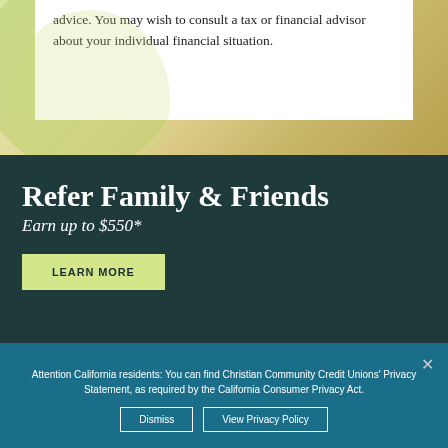advice. You may wish to consult a tax or financial advisor about your individual financial situation.
Refer Family & Friends
Earn up to $550*
Learn More
Attention California residents: You can find Christian Community Credit Unions' Privacy Statement, as required by the California Consumer Privacy Act.
Dismiss
View Privacy Policy